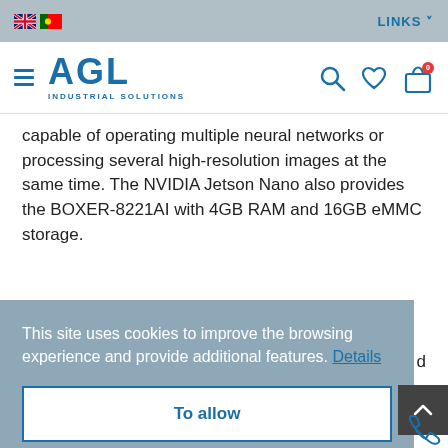AGL Industrial Solutions — website header with language flags and navigation icons
capable of operating multiple neural networks or processing several high-resolution images at the same time. The NVIDIA Jetson Nano also provides the BOXER-8221AI with 4GB RAM and 16GB eMMC storage.
This site uses cookies to improve the browsing experience and provide additional features. Details
To allow
HOME   PRODUCTS   FAVORITES   OCONTO   CONTACTS